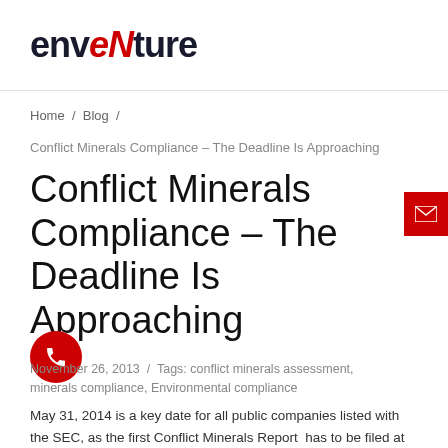enventure
Home / Blog /
Conflict Minerals Compliance – The Deadline Is Approaching
Conflict Minerals Compliance – The Deadline Is Approaching
November 26, 2013 / Tags: conflict minerals assessment, minerals compliance, Environmental compliance
May 31, 2014 is a key date for all public companies listed with the SEC, as the first Conflict Minerals Report has to be filed at this date. The Conflict Minerals Rule...